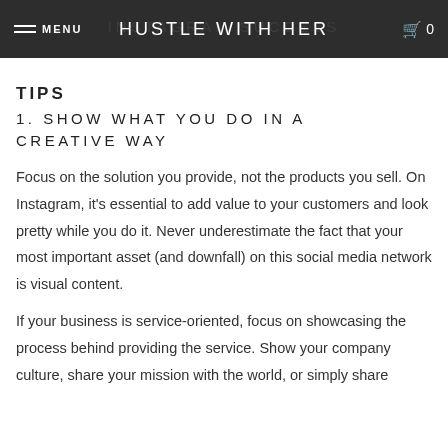MENU | HUSTLE WITH HER | INSTAGRAM SUCCESS | 0
TIPS
1. SHOW WHAT YOU DO IN A CREATIVE WAY
Focus on the solution you provide, not the products you sell. On Instagram, it's essential to add value to your customers and look pretty while you do it. Never underestimate the fact that your most important asset (and downfall) on this social media network is visual content.
If your business is service-oriented, focus on showcasing the process behind providing the service. Show your company culture, share your mission with the world, or simply share